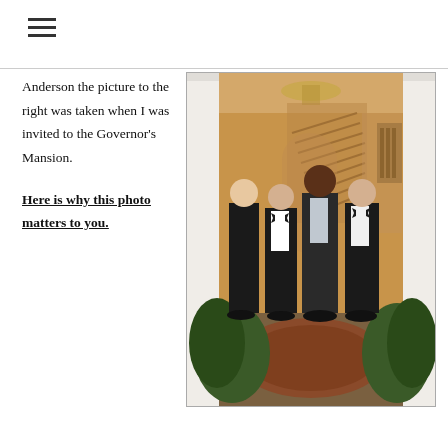≡
Anderson the picture to the right was taken when I was invited to the Governor's Mansion.
[Figure (photo): Four people in formal attire (tuxedos and black dress) posing together in an elegant foyer with white columns, chandelier, curved staircase, ornate rug, and greenery decorations.]
Here is why this photo matters to you.